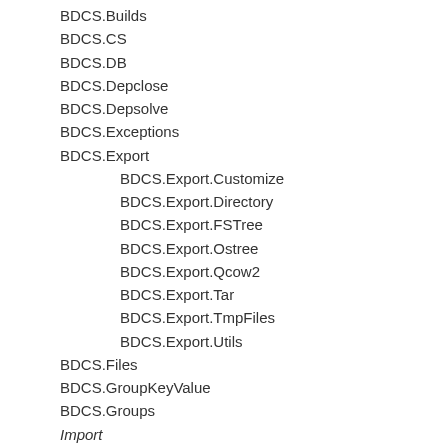BDCS.Builds
BDCS.CS
BDCS.DB
BDCS.Depclose
BDCS.Depsolve
BDCS.Exceptions
BDCS.Export
BDCS.Export.Customize
BDCS.Export.Directory
BDCS.Export.FSTree
BDCS.Export.Ostree
BDCS.Export.Qcow2
BDCS.Export.Tar
BDCS.Export.TmpFiles
BDCS.Export.Utils
BDCS.Files
BDCS.GroupKeyValue
BDCS.Groups
Import